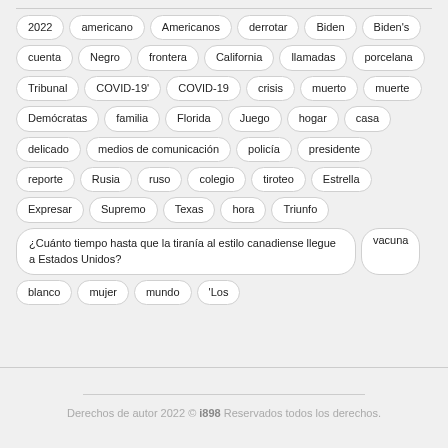2022
americano
Americanos
derrotar
Biden
Biden's
cuenta
Negro
frontera
California
llamadas
porcelana
Tribunal
COVID-19'
COVID-19
crisis
muerto
muerte
Demócratas
familia
Florida
Juego
hogar
casa
delicado
medios de comunicación
policía
presidente
reporte
Rusia
ruso
colegio
tiroteo
Estrella
Expresar
Supremo
Texas
hora
Triunfo
¿Cuánto tiempo hasta que la tiranía al estilo canadiense llegue a Estados Unidos?
vacuna
blanco
mujer
mundo
'Los
Derechos de autor 2022 © i898 Reservados todos los derechos.